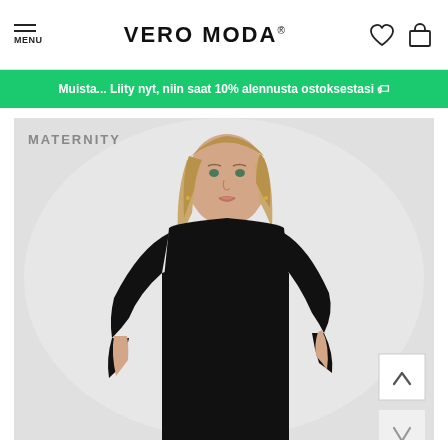MENU | VERO MODA® | [heart icon] [bag icon]
Muista... Liity nyt, niin saat 10% alennusta ostoksestasi 🏷
[Figure (photo): A female model wearing a black long-sleeve fitted maternity dress against a light grey background. The word MATERNITY appears in grey capital letters in the upper left of the image. Navigation arrows (up and down) appear on the right side.]